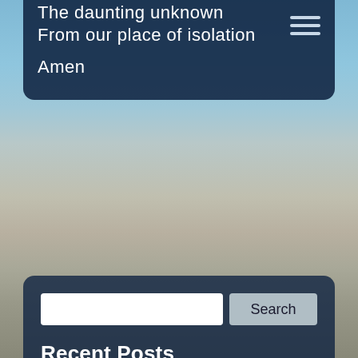The daunting unknown
From our place of isolation
Amen
[Figure (screenshot): Search input field with Search button]
Recent Posts
The Great Eliane Elias Carries me into Summer
Funeral Reading About Laughter
The Gallivant: My Mini-Holiday Starring Real People
Getting it Right. Have You Met the Moment?